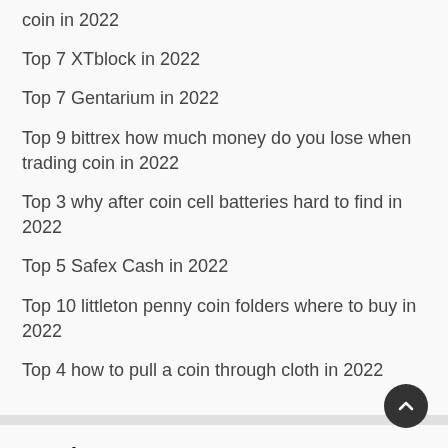coin in 2022
Top 7 XTblock in 2022
Top 7 Gentarium in 2022
Top 9 bittrex how much money do you lose when trading coin in 2022
Top 3 why after coin cell batteries hard to find in 2022
Top 5 Safex Cash in 2022
Top 10 littleton penny coin folders where to buy in 2022
Top 4 how to pull a coin through cloth in 2022
Random Posts
Just So You Know Là Gì – Lời Dịch Online: Just So You Know
Tháng Hai 4, 2021